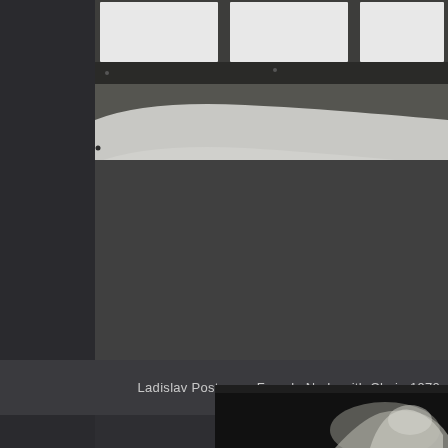[Figure (photo): Top portion of a framed black and white photograph displayed in a gallery setting, showing curved architectural elements and framed artwork panels against a dark background. The frame is visible with small mounting dots.]
Ladislav Postupa – Female Nude with Chair, 1970
[Figure (photo): Bottom portion of a black and white artistic photograph showing a female nude figure, with dramatic lighting creating strong contrast between highlights and deep shadows. The figure appears in the lower right area against a very dark background.]